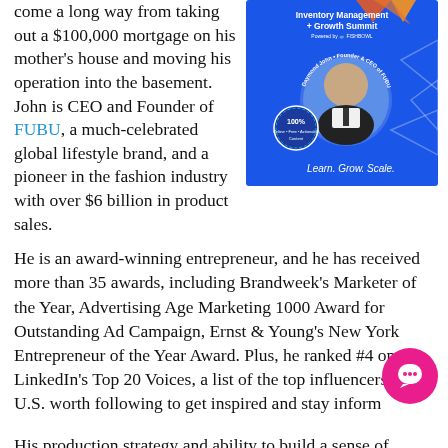come a long way from taking out a $100,000 mortgage on his mother's house and moving his operation into the basement. John is CEO and Founder of FUBU, a much-celebrated global lifestyle brand, and a pioneer in the fashion industry with over $6 billion in product sales.
[Figure (infographic): Blue promotional banner for Inventory Management + Growth Summit powered by Fishbowl, featuring Daymond John (Founder & CEO of FUBU) in a circular portrait, with '100% Online • Free • Actionable Content' badge and tagline 'Learn. Grow. Scale.']
He is an award-winning entrepreneur, and he has received more than 35 awards, including Brandweek's Marketer of the Year, Advertising Age Marketing 1000 Award for Outstanding Ad Campaign, Ernst & Young's New York Entrepreneur of the Year Award. Plus, he ranked #4 on LinkedIn's Top 20 Voices, a list of the top influencers in the U.S. worth following to get inspired and stay informed.
His production strategy and ability to build a sense of...